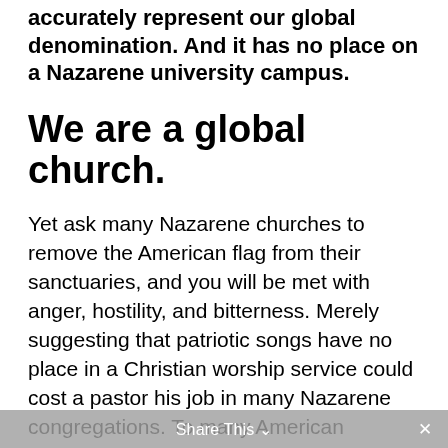accurately represent our global denomination. And it has no place on a Nazarene university campus.
We are a global church.
Yet ask many Nazarene churches to remove the American flag from their sanctuaries, and you will be met with anger, hostility, and bitterness. Merely suggesting that patriotic songs have no place in a Christian worship service could cost a pastor his job in many Nazarene congregations. To many American evangelicals, including some Nazarenes, “God and Country” are placed on the same level; the USA flag and the cross of Christ often go hand-in-
Share This ∨ ×